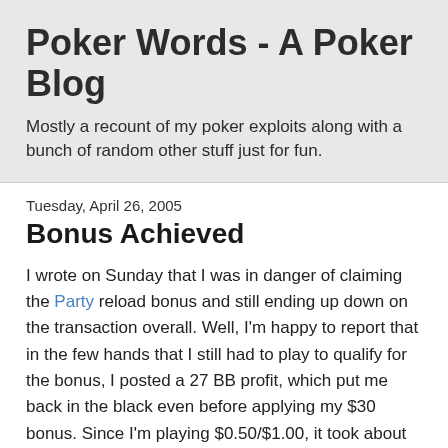Poker Words - A Poker Blog
Mostly a recount of my poker exploits along with a bunch of random other stuff just for fun.
Tuesday, April 26, 2005
Bonus Achieved
I wrote on Sunday that I was in danger of claiming the Party reload bonus and still ending up down on the transaction overall. Well, I'm happy to report that in the few hands that I still had to play to qualify for the bonus, I posted a 27 BB profit, which put me back in the black even before applying my $30 bonus. Since I'm playing $0.50/$1.00, it took about 100 hands to get the last 40 or 50 raked hands that I needed. In that time, it seemed like every hand I played managed to hit. It was like Party felt bad for cracking every